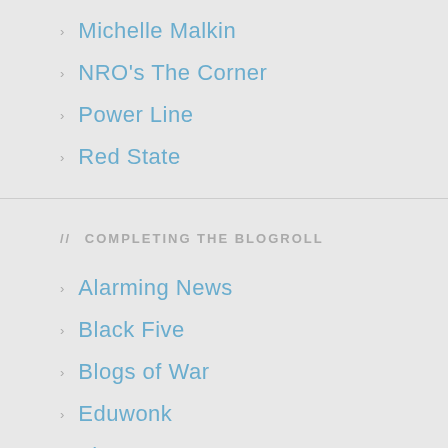Michelle Malkin
NRO's The Corner
Power Line
Red State
// COMPLETING THE BLOGROLL
Alarming News
Black Five
Blogs of War
Eduwonk
Flypaper
Fraters Libertas